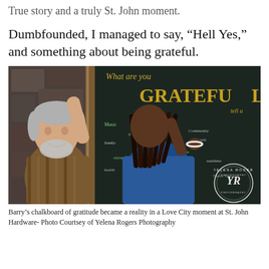True story and a truly St. John moment.
Dumbfounded, I managed to say, “Hell Yes,” and something about being grateful.
[Figure (photo): Two people standing in front of a large chalkboard sign reading 'What are you GRATEFUL' with many handwritten messages. An older white man with grey hair and beard stands on the left smiling, while a woman with dreadlocks in a blue top writes on the board. A Yelena Rogers Photography watermark is visible in the lower right corner.]
Barry’s chalkboard of gratitude became a reality in a Love City moment at St. John Hardware- Photo Courtsey of Yelena Rogers Photography